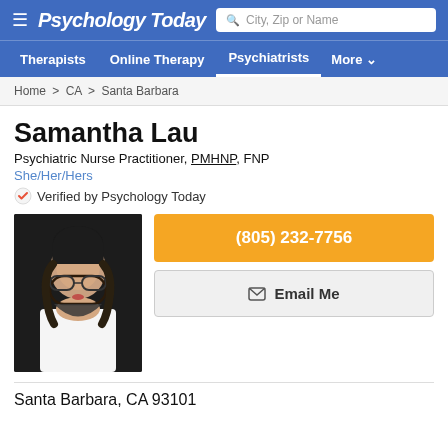Psychology Today — City, Zip or Name search bar
Therapists | Online Therapy | Psychiatrists | More
Home > CA > Santa Barbara
Samantha Lau
Psychiatric Nurse Practitioner, PMHNP, FNP
She/Her/Hers
Verified by Psychology Today
[Figure (photo): Professional headshot of Samantha Lau, a woman with dark hair, glasses, and red lipstick wearing a white top, against a dark background]
(805) 232-7756
Email Me
Santa Barbara, CA 93101